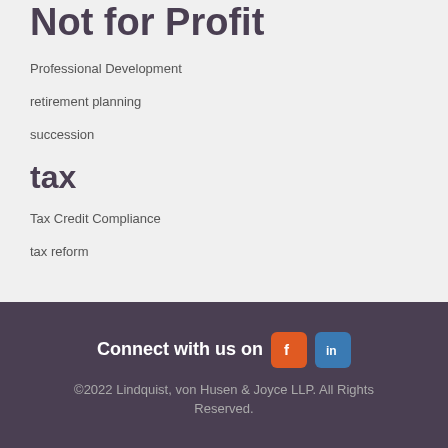Not for Profit
Professional Development
retirement planning
succession
tax
Tax Credit Compliance
tax reform
Connect with us on
©2022 Lindquist, von Husen & Joyce LLP. All Rights Reserved.